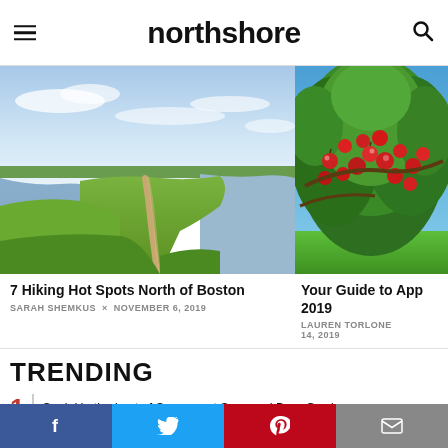northshore
[Figure (photo): Aerial view of coastal marshland with a dirt path winding between green grass and calm water under a partly cloudy sky.]
[Figure (photo): Close-up of an apple tree branch loaded with ripe red apples against a bright blue sky.]
7 Hiking Hot Spots North of Boston
SARAH SHEMKUS × NOVEMBER 6, 2019
Your Guide to App 2019
LAUREN TORLONE 14, 2019
TRENDING
Soak Up the Last of Summer at Seasonal Beer Gardens